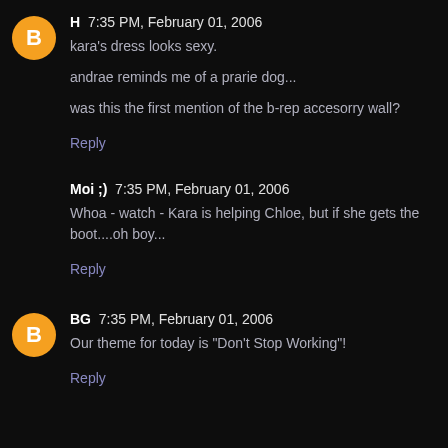H  7:35 PM, February 01, 2006
kara's dress looks sexy.

andrae reminds me of a prarie dog...

was this the first mention of the b-rep accesorry wall?
Reply
Moi ;)  7:35 PM, February 01, 2006
Whoa - watch - Kara is helping Chloe, but if she gets the boot....oh boy...
Reply
BG  7:35 PM, February 01, 2006
Our theme for today is "Don't Stop Working"!
Reply